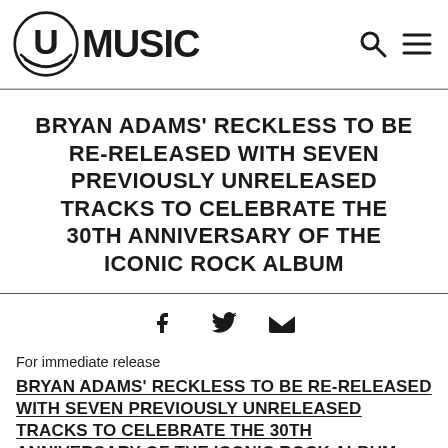[Figure (logo): UMusic logo with circular U emblem and MUSIC text]
BRYAN ADAMS' RECKLESS TO BE RE-RELEASED WITH SEVEN PREVIOUSLY UNRELEASED TRACKS TO CELEBRATE THE 30TH ANNIVERSARY OF THE ICONIC ROCK ALBUM
[Figure (infographic): Social share icons: Facebook, Twitter, Email]
For immediate release
BRYAN ADAMS' RECKLESS TO BE RE-RELEASED WITH SEVEN PREVIOUSLY UNRELEASED TRACKS TO CELEBRATE THE 30TH ANNIVERSARY OF THE ICONIC ROCK ALBUM